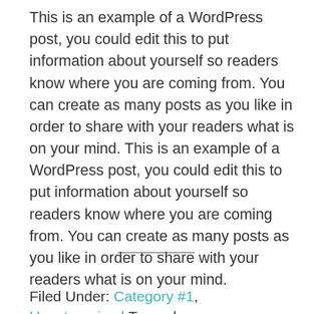This is an example of a WordPress post, you could edit this to put information about yourself so readers know where you are coming from. You can create as many posts as you like in order to share with your readers what is on your mind. This is an example of a WordPress post, you could edit this to put information about yourself so readers know where you are coming from. You can create as many posts as you like in order to share with your readers what is on your mind.
Filed Under: Category #1, Uncategorized Tagged